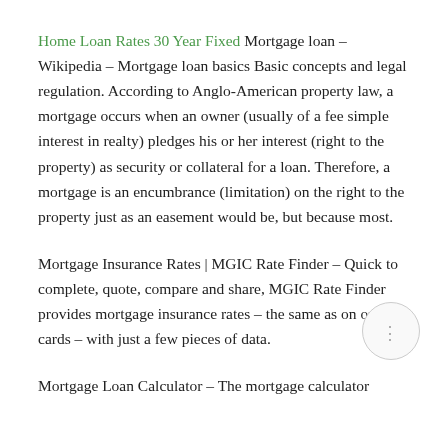Home Loan Rates 30 Year Fixed Mortgage loan – Wikipedia – Mortgage loan basics Basic concepts and legal regulation. According to Anglo-American property law, a mortgage occurs when an owner (usually of a fee simple interest in realty) pledges his or her interest (right to the property) as security or collateral for a loan. Therefore, a mortgage is an encumbrance (limitation) on the right to the property just as an easement would be, but because most.
Mortgage Insurance Rates | MGIC Rate Finder – Quick to complete, quote, compare and share, MGIC Rate Finder provides mortgage insurance rates – the same as on our rate cards – with just a few pieces of data.
Mortgage Loan Calculator – The mortgage calculator